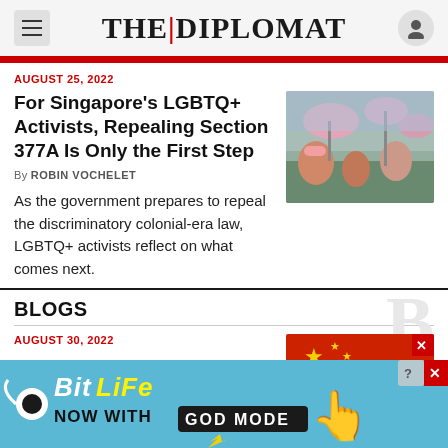THE DIPLOMAT
AUGUST 25, 2022
For Singapore's LGBTQ+ Activists, Repealing Section 377A Is Only the First Step
By ROBIN VOCHELET
As the government prepares to repeal the discriminatory colonial-era law, LGBTQ+ activists reflect on what comes next.
[Figure (photo): Crowd of people at outdoor event with pink flags and banners]
BLOGS
AUGUST 30, 2022
[Figure (photo): Red flag with yellow star - Chinese flag]
[Figure (other): BitLife advertisement banner: NOW WITH GOD MODE]